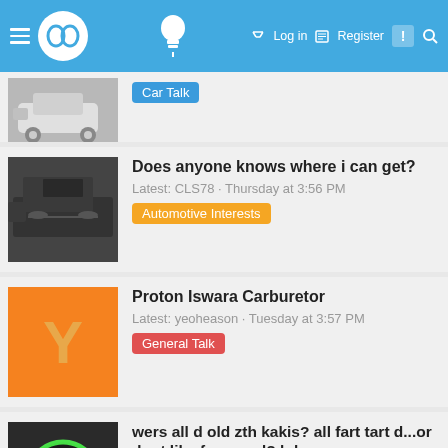Log in  Register
Car Talk
Does anyone knows where i can get?
Latest: CLS78 · Thursday at 3:56 PM
Automotive Interests
Proton Iswara Carburetor
Latest: yeoheason · Tuesday at 3:57 PM
General Talk
wers all d old zth kakis? all fart tart d...or dont like forums d? lol
Latest: minibeany · Sunday at 9:10 PM
General Talk